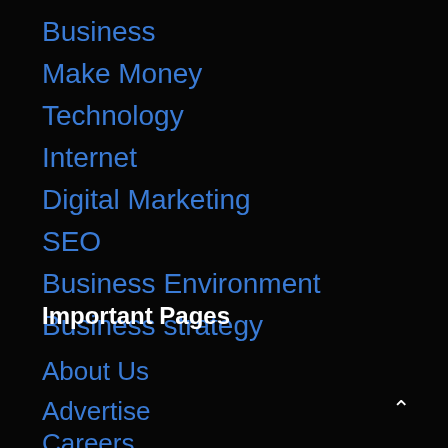Business
Make Money
Technology
Internet
Digital Marketing
SEO
Business Environment
Business strategy
Important Pages
About Us
Advertise
Careers